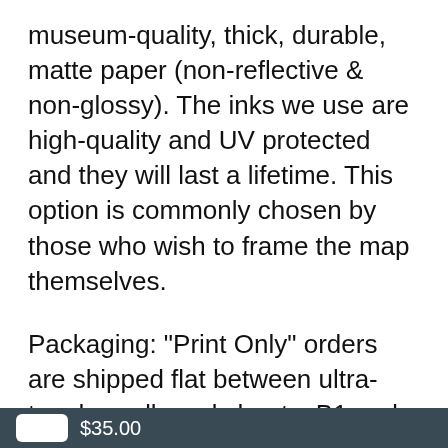museum-quality, thick, durable, matte paper (non-reflective & non-glossy). The inks we use are high-quality and UV protected and they will last a lifetime. This option is commonly chosen by those who wish to frame the map themselves.
Packaging: "Print Only" orders are shipped flat between ultra-tough cardboard sheets. B1 and A0 sizes are shipped carefully rolled in tubes.
Stretched Canvas:
If you choose the "Stretched Canvas" option, your order printed of high-quality canvas material, gallery-wrapped and stretched
$35.00